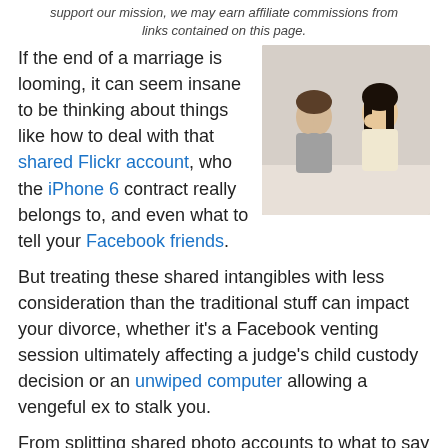support our mission, we may earn affiliate commissions from links contained on this page.
[Figure (photo): A man and woman sitting back to back, both looking stressed, man with head in hands, woman with hand on forehead]
If the end of a marriage is looming, it can seem insane to be thinking about things like how to deal with that shared Flickr account, who the iPhone 6 contract really belongs to, and even what to tell your Facebook friends.
But treating these shared intangibles with less consideration than the traditional stuff can impact your divorce, whether it's a Facebook venting session ultimately affecting a judge's child custody decision or an unwiped computer allowing a vengeful ex to stalk you.
From splitting shared photo accounts to what to say (and not to say) on social media, we've rounded up 10 tech tips for couples going through a divorce.
1. Download your content out of shared